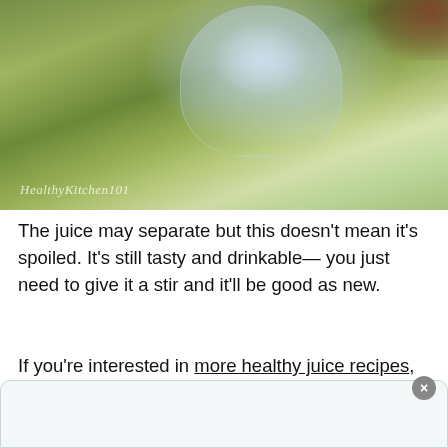[Figure (photo): Photo of a glass of red/dark juice with green herbs and leaves around it, watermark 'HealthyKitchen101' in bottom left]
The juice may separate but this doesn't mean it's spoiled. It's still tasty and drinkable— you just need to give it a stir and it'll be good as new.
If you're interested in more healthy juice recipes, check out our article on the top 10 best carrot juice recipes or best apple juice roundup. They're all simple, delicious and easy to make!
Now let's get back to today's carrot apple beet juice recipe.
[Figure (other): Advertisement box with close button (×)]